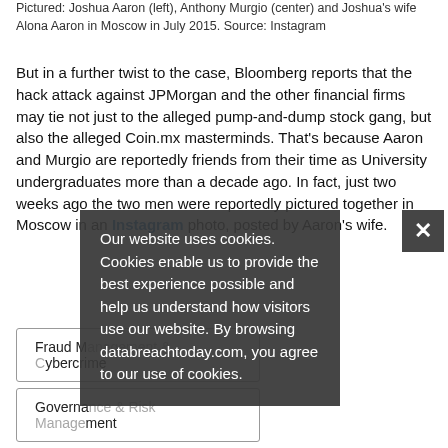Pictured: Joshua Aaron (left), Anthony Murgio (center) and Joshua's wife Alona Aaron in Moscow in July 2015. Source: Instagram
But in a further twist to the case, Bloomberg reports that the hack attack against JPMorgan and the other financial firms may tie not just to the alleged pump-and-dump stock gang, but also the alleged Coin.mx masterminds. That's because Aaron and Murgio are reportedly friends from their time as University undergraduates more than a decade ago. In fact, just two weeks ago the two men were reportedly pictured together in Moscow in an Instagram photo, posted by Aaron's wife.
Fraud Management & Cybercrime
Governance & Risk Management
Incident & Breach Response
Our website uses cookies. Cookies enable us to provide the best experience possible and help us understand how visitors use our website. By browsing databreachtoday.com, you agree to our use of cookies.